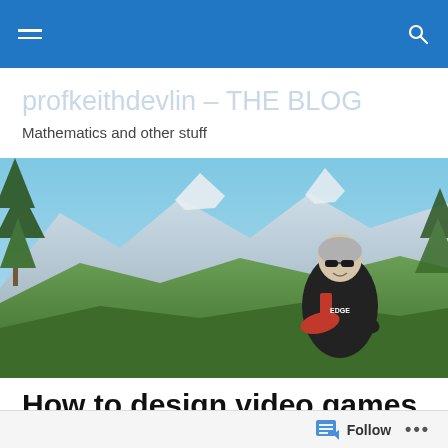profkeithdevlin – THE BLOG
Mathematics and other stuff
[Figure (photo): Outdoor photo of a person with gray hair and sunglasses, wearing a cycling jersey, standing with arms crossed in front of a mountain landscape with green hills, blue sky, and pine trees.]
How to design video games that support good math learning: Level 1
Follow